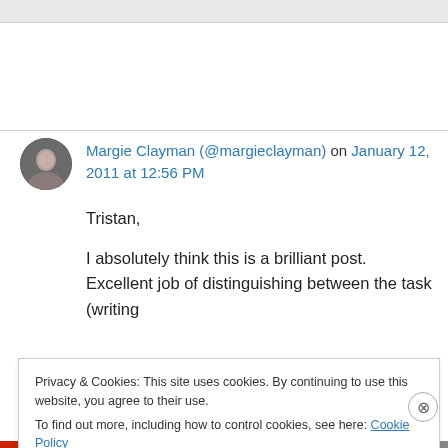Margie Clayman (@margieclayman) on January 12, 2011 at 12:56 PM
Tristan,
I absolutely think this is a brilliant post. Excellent job of distinguishing between the task (writing
Privacy & Cookies: This site uses cookies. By continuing to use this website, you agree to their use. To find out more, including how to control cookies, see here: Cookie Policy
Close and accept